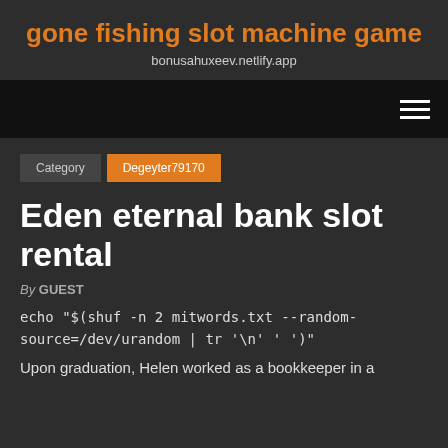gone fishing slot machine game
bonusahuxeev.netlify.app
[Figure (other): Navigation bar with hamburger menu icon on dark background]
Category   Degeyter79170
Eden eternal bank slot rental
By GUEST
echo "$(shuf -n 2 mitwords.txt --random-source=/dev/urandom | tr '\n' ' ')"
Upon graduation, Helen worked as a bookkeeper in a